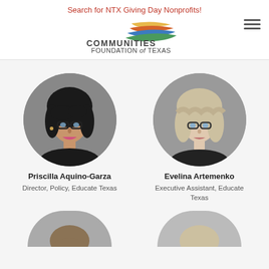Search for NTX Giving Day Nonprofits!
[Figure (logo): Communities Foundation of Texas logo with colorful swoosh graphic]
Priscilla Aquino-Garza
Director, Policy, Educate Texas
[Figure (photo): Circular portrait photo of Priscilla Aquino-Garza, woman with dark curly hair and glasses]
Evelina Artemenko
Executive Assistant, Educate Texas
[Figure (photo): Circular portrait photo of Evelina Artemenko, woman with blonde wavy hair and glasses]
[Figure (photo): Partial circular portrait photo at bottom left, cropped]
[Figure (photo): Partial circular portrait photo at bottom right, cropped]